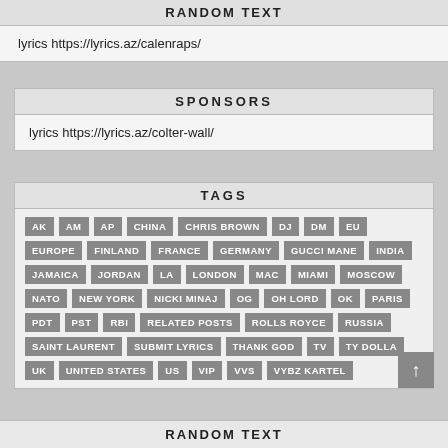RANDOM TEXT
lyrics https://lyrics.az/calenraps/
SPONSORS
lyrics https://lyrics.az/colter-wall/
TAGS
AK
AM
AP
CHINA
CHRIS BROWN
DJ
DM
EU
EUROPE
FINLAND
FRANCE
GERMANY
GUCCI MANE
INDIA
JAMAICA
JORDAN
LA
LONDON
MAC
MIAMI
MOSCOW
NATO
NEW YORK
NICKI MINAJ
OG
OH LORD
OK
PARIS
PDT
PST
RBI
RELATED POSTS
ROLLS ROYCE
RUSSIA
SAINT LAURENT
SUBMIT LYRICS
THANK GOD
TV
TY DOLLA
UK
UNITED STATES
US
VIP
VVS
VYBZ KARTEL
RANDOM TEXT